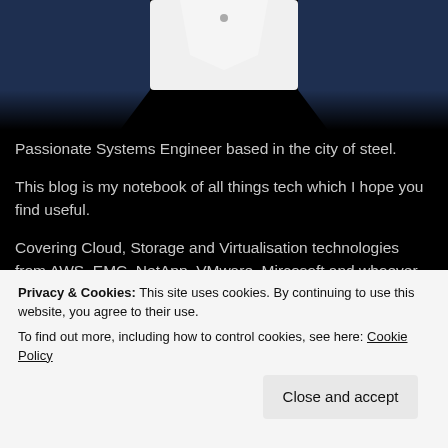[Figure (photo): Person in navy blue suit jacket, cropped to chest/torso area, on white background]
Passionate Systems Engineer based in the city of steel.
This blog is my notebook of all things tech which I hope you find useful.
Covering Cloud, Storage and Virtualisation technologies from AWS, EMC, NetApp, VMware, Mircosoft and whoever in between.
[Figure (logo): VMware logo badge with green stripe, rounded rectangle, showing partial text]
Privacy & Cookies: This site uses cookies. By continuing to use this website, you agree to their use.
To find out more, including how to control cookies, see here: Cookie Policy
Close and accept